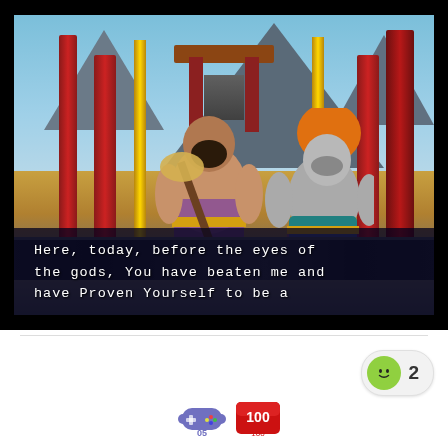[Figure (screenshot): Video game screenshot showing two large warrior characters in a rocky arena with red pillars and a mountain backdrop. A dialogue box at the bottom reads: 'Here, today, before the eyes of the gods, you have beaten me and have proven yourself to be a']
Here, today, before the eyes of the gods, you have beaten me and have proven yourself to be a
[Figure (infographic): Reaction badge showing a smiley face emoji with the number 2, and bottom icons including a game controller icon labeled '05' and a red score/coupon icon labeled '100']